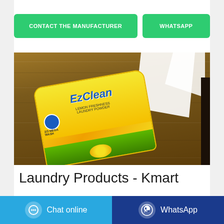[Figure (other): Green button: CONTACT THE MANUFACTURER]
[Figure (other): Green button: WHATSAPP]
[Figure (photo): Photo of a yellow laundry detergent powder bag (EzClean brand) lying on a wooden table with a white cloth, photographed from above at an angle.]
Laundry Products - Kmart
The right laundry products will help deliver sparkling clean and...
[Figure (other): Blue button: Chat online with chat bubble icon]
[Figure (other): Dark blue button: WhatsApp with WhatsApp icon]